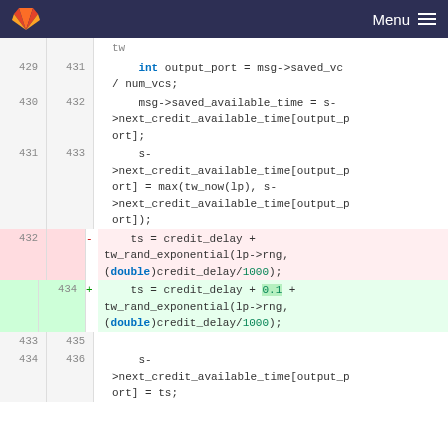GitLab — Menu
tw
429  431      int output_port = msg->saved_vc / num_vcs;
430  432      msg->saved_available_time = s->next_credit_available_time[output_port];
431  433      s->next_credit_available_time[output_port] = max(tw_now(lp), s->next_credit_available_time[output_port]);
432  (removed)  -  ts = credit_delay + tw_rand_exponential(lp->rng, (double)credit_delay/1000);
434  (added)   +  ts = credit_delay + 0.1 + tw_rand_exponential(lp->rng, (double)credit_delay/1000);
433  435  (blank)
434  436      s->next_credit_available_time[output_p ort] = ts;